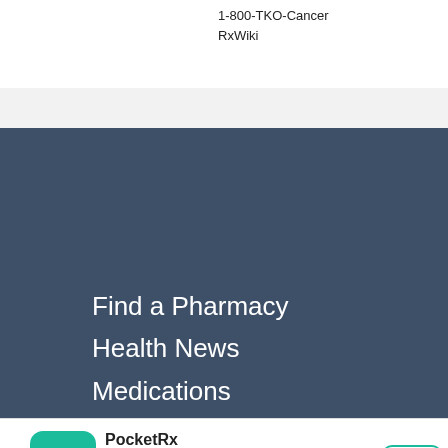1-800-TKO-Cancer
RxWiki
Find a Pharmacy
Health News
Medications
Conditions
RxCoupons
Mobile App
Pharmacy Solutions
PocketRx
Refill 24/7, save medications and access your account from our mobile app.
★★★★★ (12)